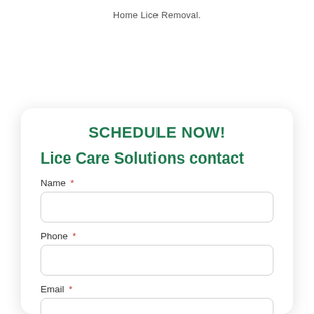Home Lice Removal.
SCHEDULE NOW!
Lice Care Solutions contact
Name *
Phone *
Email *